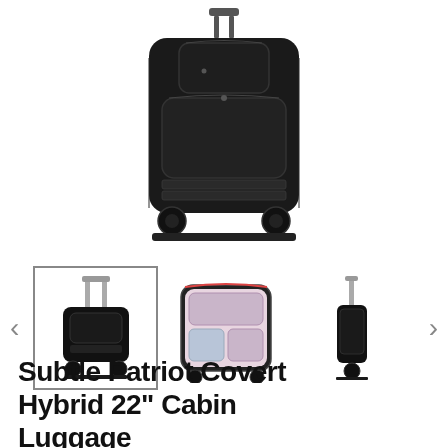[Figure (photo): Main product photo of a black rolling cabin luggage suitcase, viewed from the front/back, showing wheels, handle, and multiple pockets on a white background.]
[Figure (photo): Thumbnail carousel showing three views of the luggage: (1) front view with telescoping handle extended, (2) open interior view showing colorful patterned lining and pockets, (3) side profile view. Navigation arrows on left and right.]
Subtle Patriot Covert Hybrid 22" Cabin Luggage